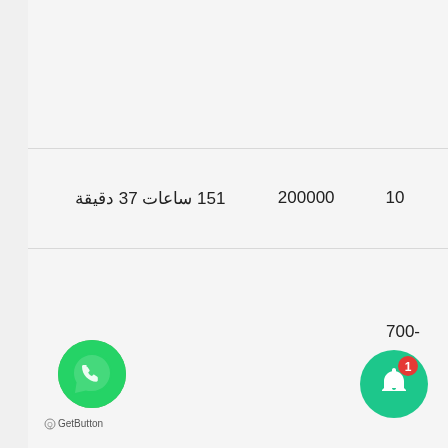| 10 | 200000 | 151 ساعات 37 دقيقة |
700-
[Figure (logo): WhatsApp GetButton green circular icon with speech bubble]
GetButton
[Figure (other): Green circular notification bell button with red badge showing number 1]